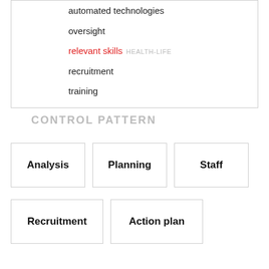automated technologies
oversight
relevant skills HEALTH-LIFE
recruitment
training
CONTROL PATTERN
[Figure (infographic): Five boxes arranged in two rows: top row has Analysis, Planning, Staff; bottom row has Recruitment, Action plan]